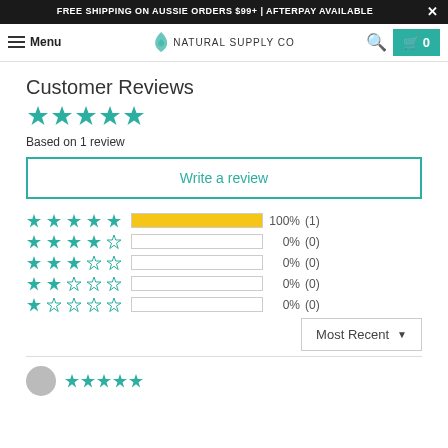FREE SHIPPING ON AUSSIE ORDERS $99+ | AFTERPAY AVAILABLE
[Figure (screenshot): Navigation bar with hamburger menu, Menu label, Natural Supply Co logo, search icon, and cart button showing 0]
Customer Reviews
[Figure (infographic): 5 teal filled stars rating display, large size]
Based on 1 review
Write a review
[Figure (bar-chart): Rating distribution]
Most Recent
[Figure (infographic): Reviewer avatar circle and 5 teal stars at the bottom]